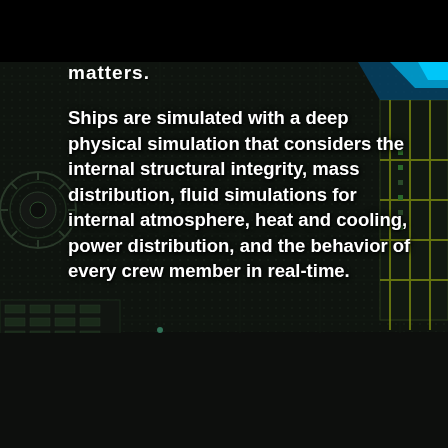[Figure (screenshot): Dark sci-fi spaceship interior/schematic view with mechanical components, pipes, panels, and a glowing blue accent, serving as background image]
matters.
Ships are simulated with a deep physical simulation that considers the internal structural integrity, mass distribution, fluid simulations for internal atmosphere, heat and cooling, power distribution, and the behavior of every crew member in real-time.